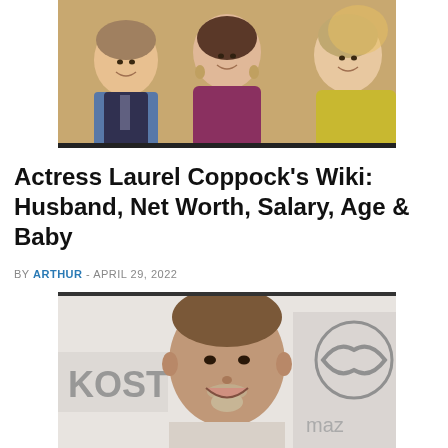[Figure (photo): Group photo of three people smiling — a man on the left in a blue shirt and jacket, a woman in the center in a purple/magenta dress with dangling earrings, and a woman on the right in a yellow/gold top]
Actress Laurel Coppock's Wiki: Husband, Net Worth, Salary, Age & Baby
BY ARTHUR - APRIL 29, 2022
[Figure (photo): A man with brown hair and a goatee smiling at a red-carpet event with KOST radio and Mazda logos visible in the background]